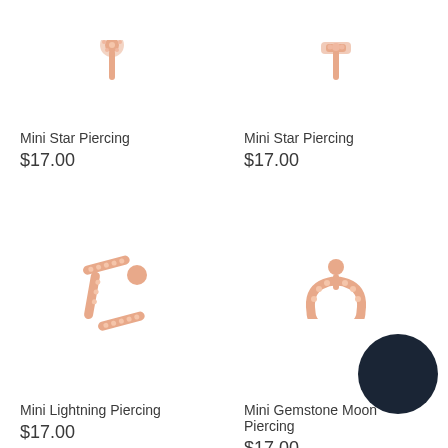[Figure (photo): Mini star piercing jewelry in rose gold, partial view at top]
Mini Star Piercing
$17.00
[Figure (photo): Mini star piercing jewelry in rose gold, partial view at top]
Mini Star Piercing
$17.00
[Figure (illustration): Mini lightning bolt piercing in rose gold with crystal stones and ball end]
Mini Lightning Piercing
$17.00
[Figure (illustration): Mini gemstone moon piercing in rose gold with crystal stones]
Mini Gemstone Moon Piercing
$17.00